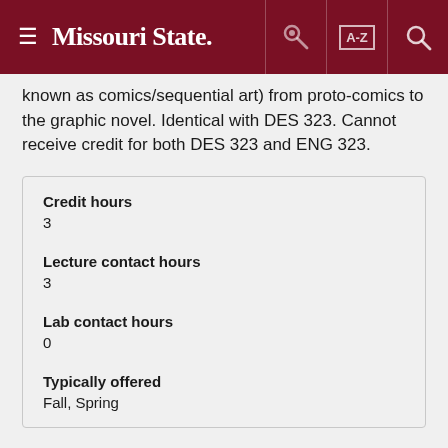Missouri State
known as comics/sequential art) from proto-comics to the graphic novel. Identical with DES 323. Cannot receive credit for both DES 323 and ENG 323.
| Credit hours | 3 |
| Lecture contact hours | 3 |
| Lab contact hours | 0 |
| Typically offered | Fall, Spring |